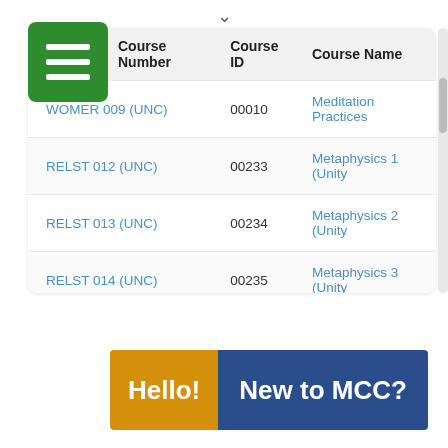| Course Number | Course ID | Course Name |
| --- | --- | --- |
| WOMER 009 (UNC) | 00010 | Meditation Practices |
| RELST 012 (UNC) | 00233 | Metaphysics 1 (Unity |
| RELST 013 (UNC) | 00234 | Metaphysics 2 (Unity |
| RELST 014 (UNC) | 00235 | Metaphysics 3 (Unity |
| SPRTY 026 (UNC) | 00237 | Healing and Wholen |
| WOMER 019 (UNC) | 00242 | Unity Prayer (Unity C |
[Figure (other): Banner with orange left section saying 'Hello!' and blue right section saying 'New to MCC?']